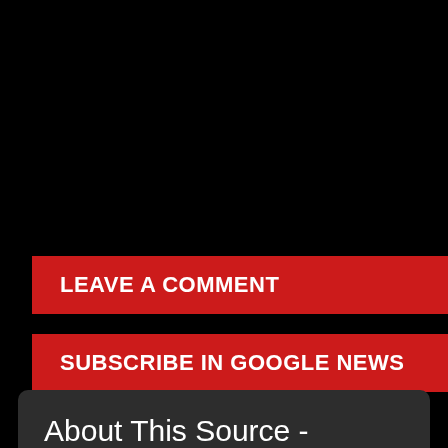[Figure (screenshot): Black background area occupying the upper portion of the page]
LEAVE A COMMENT
SUBSCRIBE IN GOOGLE NEWS
About This Source - FRANCE 24 English